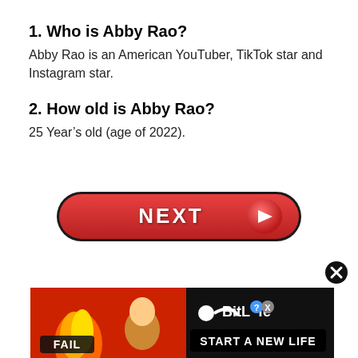1. Who is Abby Rao?
Abby Rao is an American YouTuber, TikTok star and Instagram star.
2. How old is Abby Rao?
25 Year’s old (age of 2022).
[Figure (infographic): Red pill-shaped NEXT button with right-arrow circle icon]
[Figure (infographic): BitLife advertisement banner showing FAIL scene with flames and character, BitLife logo and START A NEW LIFE text]